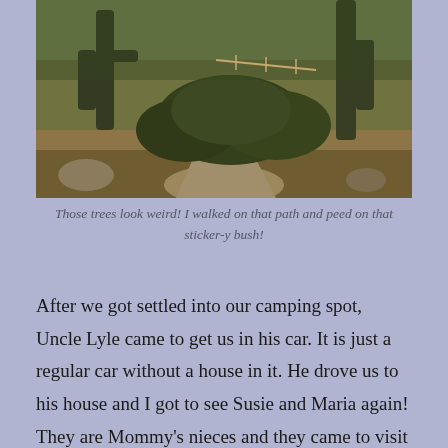[Figure (photo): Desert landscape photo showing saguaro cacti, desert shrubs, rocky path, with warm golden light. Taken at a desert campsite or park in the American Southwest.]
Those trees look weird! I walked on that path and peed on that sticker-y bush!
After we got settled into our camping spot, Uncle Lyle came to get us in his car.  It is just a regular car without a house in it.  He drove us to his house and I got to see Susie and Maria again!  They are Mommy's nieces and they came to visit us at our Old House!  I like them and was happy to see them again.  I also got to meet my